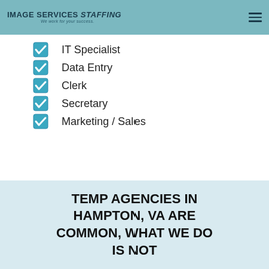IMAGE SERVICES Staffing — We work for your success.
IT Specialist
Data Entry
Clerk
Secretary
Marketing / Sales
TEMP AGENCIES IN HAMPTON, VA ARE COMMON, WHAT WE DO IS NOT